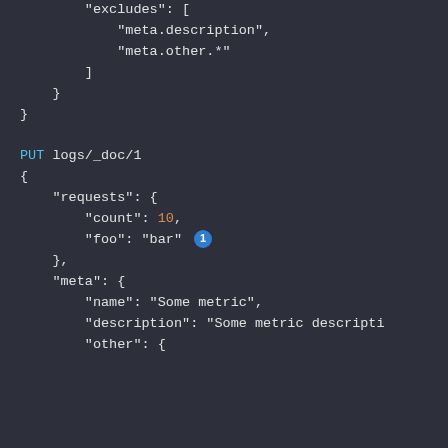code snippet showing JSON configuration with excludes array, PUT logs/_doc/1 request with requests and meta objects